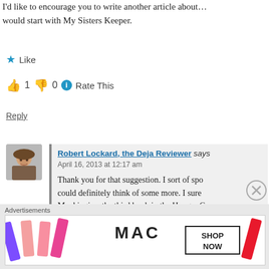I'd like to encourage you to write another article about … would start with My Sisters Keeper.
Like
👍 1  👎 0  ℹ Rate This
Reply
Robert Lockard, the Deja Reviewer says April 16, 2013 at 12:17 am
Thank you for that suggestion. I sort of spo… could definitely think of some more. I sure… Mockingjay, the third book in the Hunger G… better conclusion. I'll have to check out My…
Advertisements